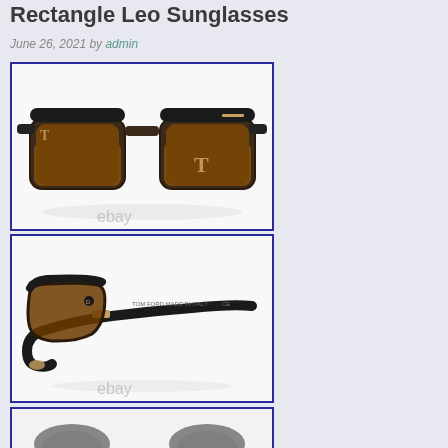Rectangle Leo Sunglasses
June 26, 2021 by admin
[Figure (photo): Tom Ford style rectangle sunglasses with tortoise shell lower frame and brown lenses, front/three-quarter view. eBay watermark visible.]
[Figure (photo): Tom Ford style rectangle sunglasses side profile view showing black temple arms with gold hardware detail and brown lens. eBay watermark visible.]
[Figure (photo): Partial view of sunglasses, bottom of image cropped.]